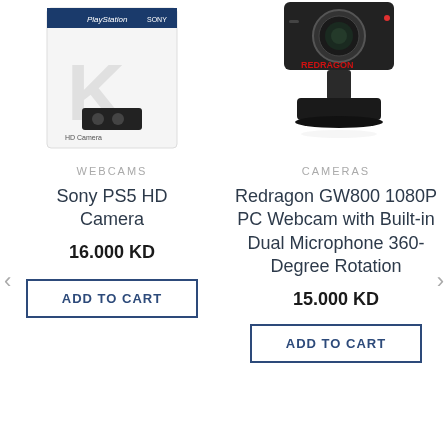[Figure (photo): Sony PS5 HD Camera product box on white background]
[Figure (photo): Redragon GW800 1080P PC Webcam with clip mount on white background]
WEBCAMS
CAMERAS
Sony PS5 HD Camera
Redragon GW800 1080P PC Webcam with Built-in Dual Microphone 360-Degree Rotation
16.000 KD
15.000 KD
ADD TO CART
ADD TO CART